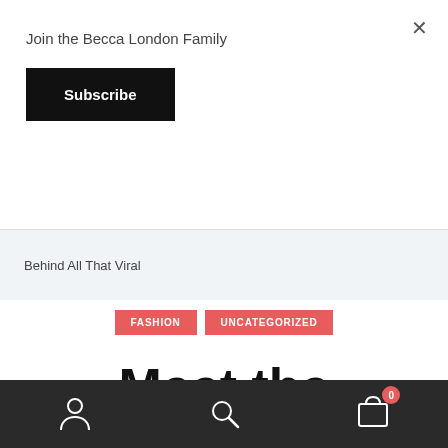Join the Becca London Family
Subscribe
×
Behind All That Viral
FASHION
UNCATEGORIZED
Meet the Married Couple
0